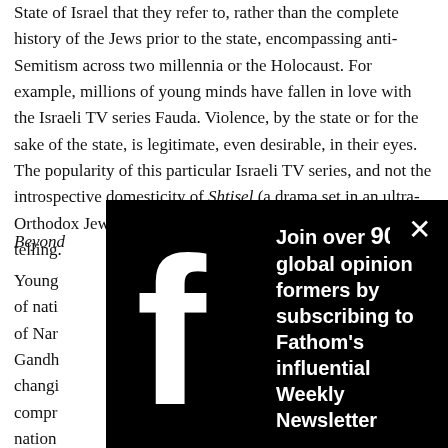State of Israel that they refer to, rather than the complete history of the Jews prior to the state, encompassing anti-Semitism across two millennia or the Holocaust. For example, millions of young minds have fallen in love with the Israeli TV series Fauda. Violence, by the state or for the sake of the state, is legitimate, even desirable, in their eyes. The popularity of this particular Israeli TV series, and not the introspective domesticity of Shtisel (a drama set in an ultra-Orthodox Jewish community, equally popular in Israel) is telling.
Beyond
Young... of nati... of Nar... Gandhi... changi... compr... nation... resona... is creat...
[Figure (other): Black modal popup overlay with Facebook logo on the left side and newsletter subscription text on the right. Includes a close button (X) in the top right corner. Text reads: Join over 9000 global opinion formers by subscribing to Fathom's influential Weekly Newsletter. Email Address field with asterisk.]